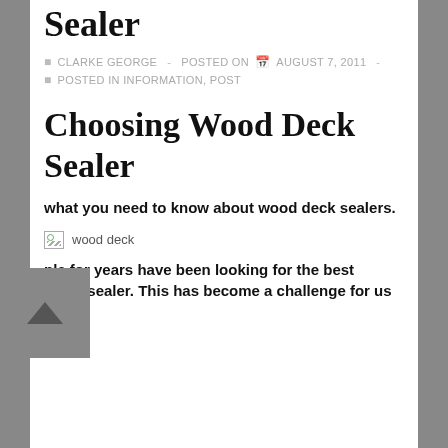Choosing Wood Deck Sealer
CLARKE GEORGE - POSTED ON AUGUST 7, 2011 - POSTED IN INFORMATION, POST
Choosing Wood Deck Sealer
what you need to know about wood deck sealers.
[Figure (photo): wood deck image placeholder]
ple for years have been looking for the best wood sealer. This has become a challenge for us in a